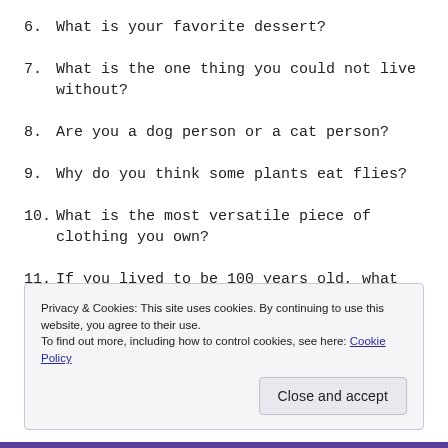6.  What is your favorite dessert?
7.  What is the one thing you could not live without?
8.  Are you a dog person or a cat person?
9.  Why do you think some plants eat flies?
10.  What is the most versatile piece of clothing you own?
11.  If you lived to be 100 years old, what would be your top three indulgences?
Privacy & Cookies: This site uses cookies. By continuing to use this website, you agree to their use.
To find out more, including how to control cookies, see here: Cookie Policy